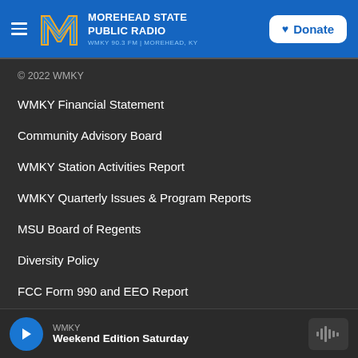Morehead State Public Radio — WMKY 90.3 FM | Morehead, KY
© 2022 WMKY
WMKY Financial Statement
Community Advisory Board
WMKY Station Activities Report
WMKY Quarterly Issues & Program Reports
MSU Board of Regents
Diversity Policy
FCC Form 990 and EEO Report
WMKY — Weekend Edition Saturday